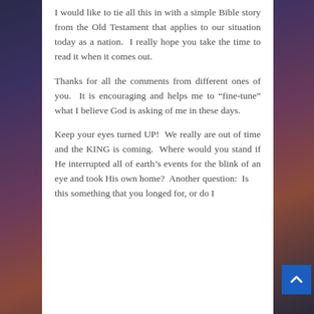I would like to tie all this in with a simple Bible story from the Old Testament that applies to our situation today as a nation.  I really hope you take the time to read it when it comes out.
Thanks for all the comments from different ones of you.  It is encouraging and helps me to “fine-tune” what I believe God is asking of me in these days.
Keep your eyes turned UP!  We really are out of time and the KING is coming.  Where would you stand if He interrupted all of earth’s events for the blink of an eye and took His own home?  Another question:  Is this something that you longed for, or do I